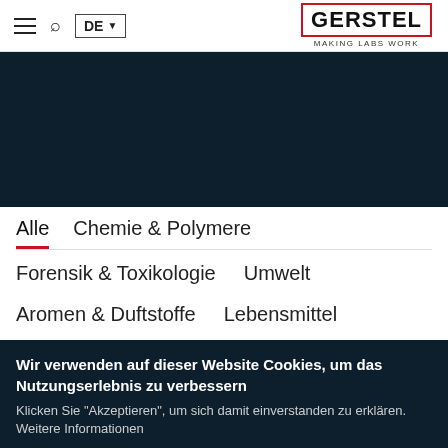GERSTEL — MAKING LABS WORK — DE navigation — hamburger menu — search
[Figure (screenshot): Dark navy hero banner image area]
Alle
Chemie & Polymere
Forensik & Toxikologie
Umwelt
Aromen & Duftstoffe
Lebensmittel
Wir verwenden auf dieser Website Cookies, um das Nutzungserlebnis zu verbessern
Klicken Sie "Akzeptieren", um sich damit einverstanden zu erklären. Weitere Informationen